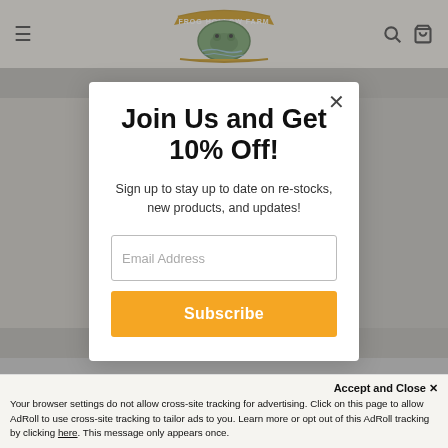[Figure (screenshot): Frog Hollow Farm website navigation bar with hamburger menu, logo, search and cart icons]
[Figure (photo): Product photo background showing farm products on grey background]
Join Us and Get 10% Off!
Sign up to stay up to date on re-stocks, new products, and updates!
Email Address
Subscribe
Accept and Close ×
Your browser settings do not allow cross-site tracking for advertising. Click on this page to allow AdRoll to use cross-site tracking to tailor ads to you. Learn more or opt out of this AdRoll tracking by clicking here. This message only appears once.